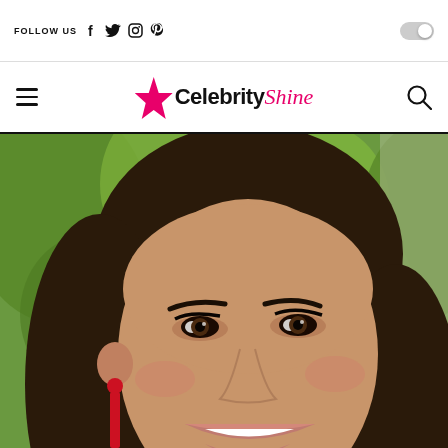FOLLOW US  [Facebook] [Twitter] [Instagram] [Pinterest] [toggle]
Celebrity Shine
[Figure (photo): Close-up selfie of a young woman with long dark hair, smiling brightly, wearing red dangling earrings, with green trees in the background]